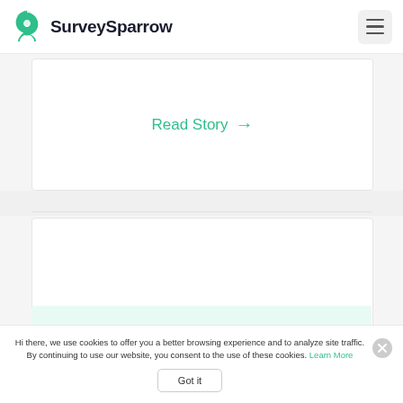SurveySparrow
Read Story →
[Figure (screenshot): Blank white card area below the Read Story link]
Hi there, we use cookies to offer you a better browsing experience and to analyze site traffic. By continuing to use our website, you consent to the use of these cookies. Learn More
Got it